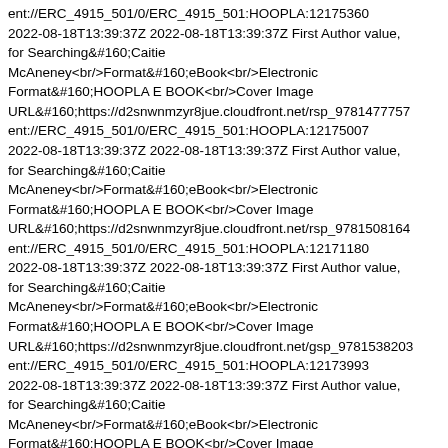ent://ERC_4915_501/0/ERC_4915_501:HOOPLA:12175360 2022-08-18T13:39:37Z 2022-08-18T13:39:37Z First Author value, for Searching&#160;Caitie McAneney<br/>Format&#160;eBook<br/>Electronic Format&#160;HOOPLA E BOOK<br/>Cover Image URL&#160;https://d2snwnmzyr8jue.cloudfront.net/rsp_9781477757 ent://ERC_4915_501/0/ERC_4915_501:HOOPLA:12175007 2022-08-18T13:39:37Z 2022-08-18T13:39:37Z First Author value, for Searching&#160;Caitie McAneney<br/>Format&#160;eBook<br/>Electronic Format&#160;HOOPLA E BOOK<br/>Cover Image URL&#160;https://d2snwnmzyr8jue.cloudfront.net/rsp_9781508164 ent://ERC_4915_501/0/ERC_4915_501:HOOPLA:12171180 2022-08-18T13:39:37Z 2022-08-18T13:39:37Z First Author value, for Searching&#160;Caitie McAneney<br/>Format&#160;eBook<br/>Electronic Format&#160;HOOPLA E BOOK<br/>Cover Image URL&#160;https://d2snwnmzyr8jue.cloudfront.net/gsp_9781538203 ent://ERC_4915_501/0/ERC_4915_501:HOOPLA:12173993 2022-08-18T13:39:37Z 2022-08-18T13:39:37Z First Author value, for Searching&#160;Caitie McAneney<br/>Format&#160;eBook<br/>Electronic Format&#160;HOOPLA E BOOK<br/>Cover Image URL&#160;https://d2snwnmzyr8jue.cloudfront.net/rsp_9781508156 ent://ERC_4915_501/0/ERC_4915_501:HOOPLA:12174004 2022-08-18T13:39:37Z 2022-08-18T13:39:37Z First Author value,